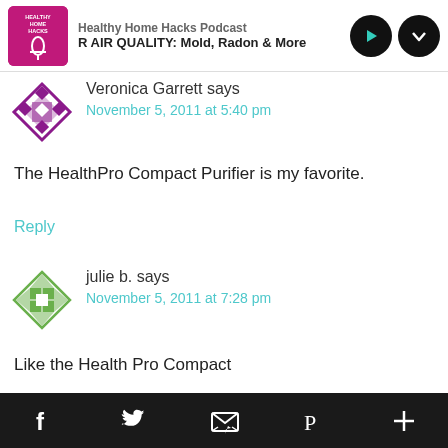Healthy Home Hacks Podcast – R AIR QUALITY: Mold, Radon & More
Veronica Garrett says
November 5, 2011 at 5:40 pm
The HealthPro Compact Purifier is my favorite.
Reply
julie b. says
November 5, 2011 at 7:28 pm
Like the Health Pro Compact
Facebook Twitter Email Pinterest Plus